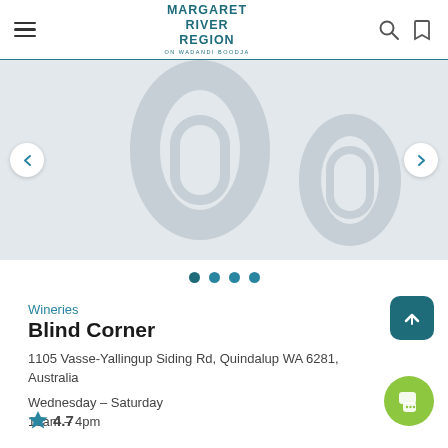[Figure (screenshot): Margaret River Region website header with hamburger menu, teal logo text 'MARGARET RIVER REGION ON WADANDI BOODJA', search icon and bookmark icon]
[Figure (photo): Gray placeholder image area showing a slideshow with navigation arrows and four dot indicators]
Wineries
Blind Corner
1105 Vasse-Yallingup Siding Rd, Quindalup WA 6281, Australia
Wednesday – Saturday
10am – 4pm